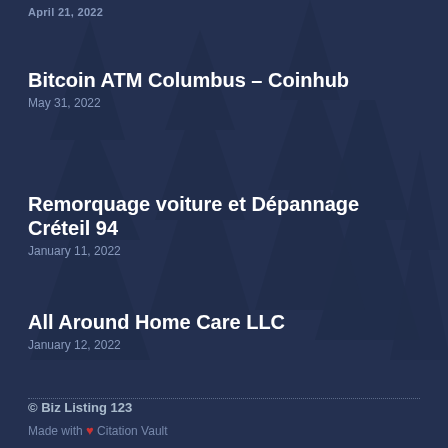April 21, 2022
Bitcoin ATM Columbus – Coinhub
May 31, 2022
Remorquage voiture et Dépannage Créteil 94
January 11, 2022
All Around Home Care LLC
January 12, 2022
© Biz Listing 123
Made with ❤ Citation Vault